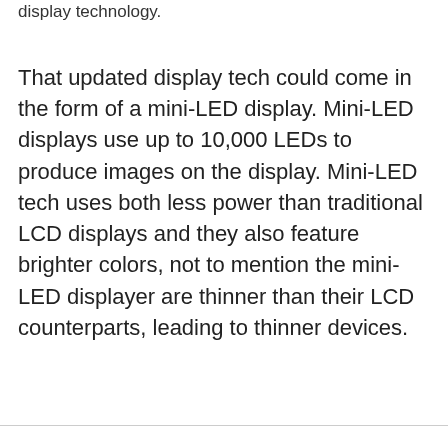display technology.
That updated display tech could come in the form of a mini-LED display. Mini-LED displays use up to 10,000 LEDs to produce images on the display. Mini-LED tech uses both less power than traditional LCD displays and they also feature brighter colors, not to mention the mini-LED displayer are thinner than their LCD counterparts, leading to thinner devices.